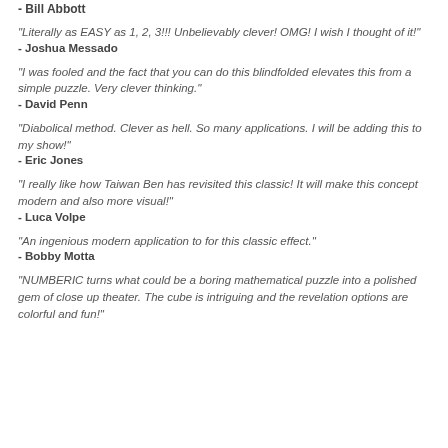- Bill Abbott
"Literally as EASY as 1, 2, 3!!! Unbelievably clever! OMG! I wish I thought of it!"
- Joshua Messado
"I was fooled and the fact that you can do this blindfolded elevates this from a simple puzzle. Very clever thinking."
- David Penn
"Diabolical method. Clever as hell. So many applications. I will be adding this to my show!"
- Eric Jones
"I really like how Taiwan Ben has revisited this classic! It will make this concept modern and also more visual!"
- Luca Volpe
"An ingenious modern application to for this classic effect."
- Bobby Motta
"NUMBERIC turns what could be a boring mathematical puzzle into a polished gem of close up theater. The cube is intriguing and the revelation options are colorful and fun!"